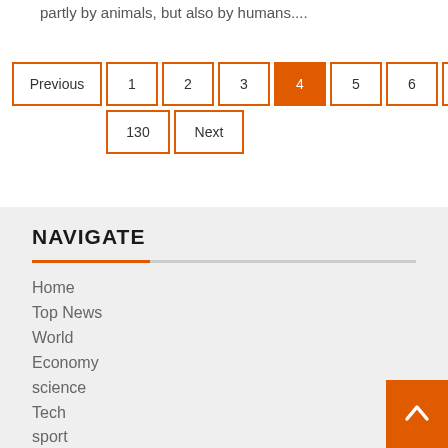partly by animals, but also by humans....
Previous
1
2
3
4
5
6
7
...
130
Next
NAVIGATE
Home
Top News
World
Economy
science
Tech
sport